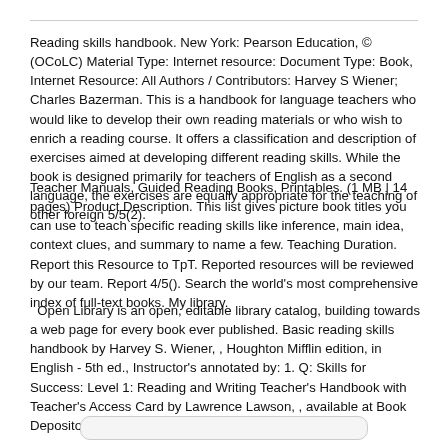Reading skills handbook. New York: Pearson Education, © (OCoLC) Material Type: Internet resource: Document Type: Book, Internet Resource: All Authors / Contributors: Harvey S Wiener; Charles Bazerman. This is a handbook for language teachers who would like to develop their own reading materials or who wish to enrich a reading course. It offers a classification and description of exercises aimed at developing different reading skills. While the book is designed primarily for teachers of English as a second language, the exercises are equally appropriate for the teaching of other foreign 5/5(2).
Teacher Manuals, Guided Reading Books, Printables. (1 MB | 14 pages) Product Description. This list gives picture book titles you can use to teach specific reading skills like inference, main idea, context clues, and summary to name a few. Teaching Duration. Report this Resource to TpT. Reported resources will be reviewed by our team. Report 4/5(). Search the world's most comprehensive index of full-text books. My library.
Open Library is an open, editable library catalog, building towards a web page for every book ever published. Basic reading skills handbook by Harvey S. Wiener, , Houghton Mifflin edition, in English - 5th ed., Instructor's annotated by: 1. Q: Skills for Success: Level 1: Reading and Writing Teacher's Handbook with Teacher's Access Card by Lawrence Lawson, , available at Book Depository with free delivery : Lawrence Lawson.